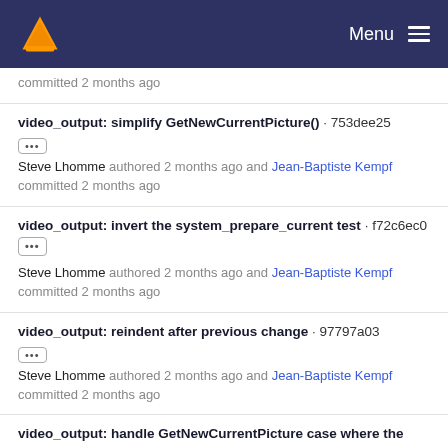VLC Menu
committed 2 months ago
video_output: simplify GetNewCurrentPicture() · 753dee25
Steve Lhomme authored 2 months ago and Jean-Baptiste Kempf committed 2 months ago
video_output: invert the system_prepare_current test · f72c6ec0
Steve Lhomme authored 2 months ago and Jean-Baptiste Kempf committed 2 months ago
video_output: reindent after previous change · 97797a03
Steve Lhomme authored 2 months ago and Jean-Baptiste Kempf committed 2 months ago
video_output: handle GetNewCurrentPicture case where the